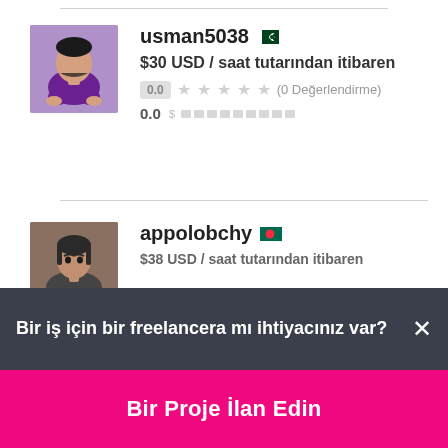[Figure (screenshot): Freelancer profile listing for usman5038 with Pakistan flag, rate $30 USD / saat tutarından itibaren, 0.0 rating with 0 reviews]
usman5038
$30 USD / saat tutarından itibaren
0.0 ★★★★★ (0 Değerlendirme)
0.0
[Figure (screenshot): Freelancer profile listing for appolobchy with Bangladesh flag, rate $38 USD / saat tutarından itibaren (partially visible)]
appolobchy
$38 USD / saat tutarından itibaren
Bir iş için bir freelancera mı ihtiyacınız var? ×
Bir Proje İlan Edin